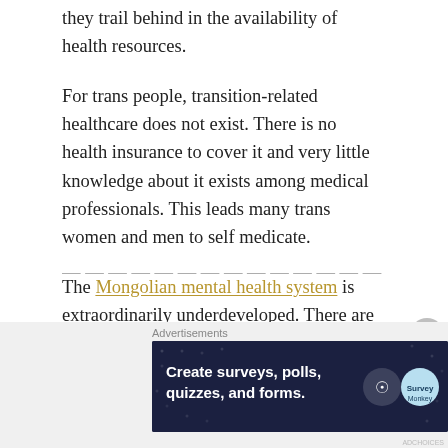they trail behind in the availability of health resources.
For trans people, transition-related healthcare does not exist. There is no health insurance to cover it and very little knowledge about it exists among medical professionals. This leads many trans women and men to self medicate.
The Mongolian mental health system is extraordinarily underdeveloped. There are few and undertrained mental health professionals and social workers. Those within the LGBT community are most at risk of mental health issues due to the stress of family pressure and discrimination from society at large. Mongolia has the
[text cut off]
Advertisements
[Figure (screenshot): Advertisement banner: dark navy background with dot pattern, text 'Create surveys, polls, quizzes, and forms.' with WordPress and SurveyMonkey icons]